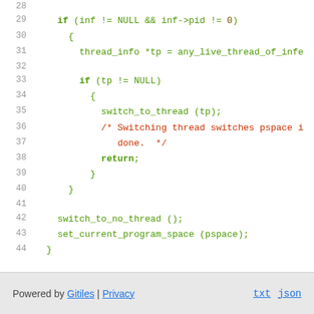[Figure (screenshot): Source code viewer showing C code lines 28-44 with syntax highlighting. Line numbers in gray on left, code in green/red for comments, blue for keywords, dark for identifiers.]
Powered by Gitiles | Privacy    txt  json